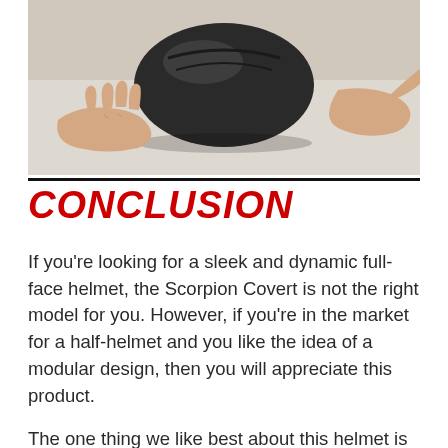[Figure (photo): Photo of a person's hands holding a dark/black motorcycle helmet on a light surface, viewed from above at an angle]
CONCLUSION
If you're looking for a sleek and dynamic full-face helmet, the Scorpion Covert is not the right model for you. However, if you're in the market for a half-helmet and you like the idea of a modular design, then you will appreciate this product.
The one thing we like best about this helmet is that it looks cool without sacrificing functionality. Everything from the face mask to the visor to the liner is designed to be as practical and comfortable as possible. As long as you understand the